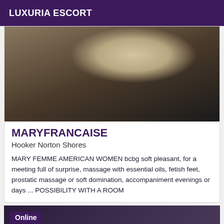LUXURIA ESCORT
[Figure (photo): Close-up photo showing a high-heel shoe and legs in dark clothing against a dark background]
MARYFRANCAISE
Hooker Norton Shores
MARY FEMME AMERICAN WOMEN bcbg soft pleasant, for a meeting full of surprise, massage with essential oils, fetish feet, prostatic massage or soft domination, accompaniment evenings or days ... POSSIBILITY WITH A ROOM
[Figure (photo): Dark photo with Online badge overlay, second escort listing preview]